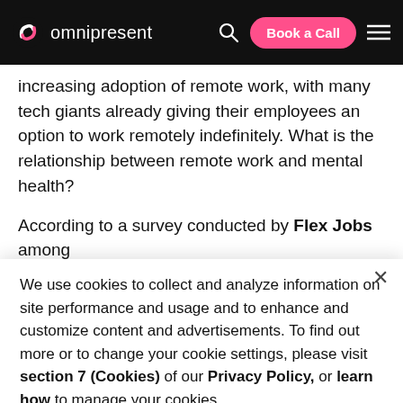omnipresent — Book a Call
increasing adoption of remote work, with many tech giants already giving their employees an option to work remotely indefinitely. What is the relationship between remote work and mental health?
According to a survey conducted by Flex Jobs among
We use cookies to collect and analyze information on site performance and usage and to enhance and customize content and advertisements. To find out more or to change your cookie settings, please visit section 7 (Cookies) of our Privacy Policy, or learn how to manage your cookies.
Accept